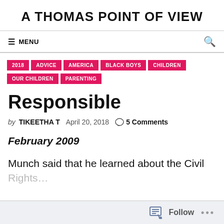A THOMAS POINT OF VIEW
≡ MENU  🔍
2018  ADVICE  AMERICA  BLACK BOYS  CHILDREN  OUR CHILDREN  PARENTING
Responsible
by TIKEETHA T   April 20, 2018   💬 5 Comments
February 2009
Munch said that he learned about the Civil Rights…